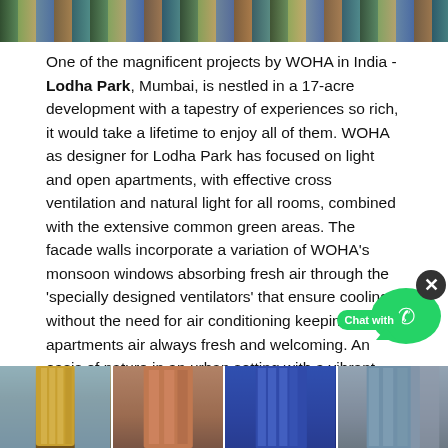[Figure (photo): Top banner image showing urban/architectural scene with buildings and greenery]
One of the magnificent projects by WOHA in India - Lodha Park, Mumbai, is nestled in a 17-acre development with a tapestry of experiences so rich, it would take a lifetime to enjoy all of them. WOHA as designer for Lodha Park has focused on light and open apartments, with effective cross ventilation and natural light for all rooms, combined with the extensive common green areas. The facade walls incorporate a variation of WOHA's monsoon windows absorbing fresh air through the 'specially designed ventilators' that ensure cooling without the need for air conditioning keeping the apartments air always fresh and welcoming. An oasis of nature in an urban setting with a vibrant lifestyle, world-class service and enriching experiences woven seamlessly, Lodha Park offers Better Life in its true sense.
[Figure (photo): Bottom row of four architectural building renders showing different high-rise residential towers]